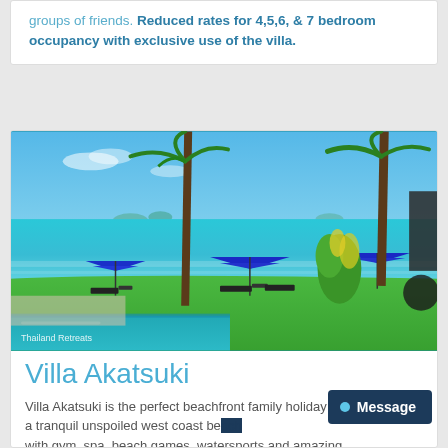groups of friends. Reduced rates for 4,5,6, & 7 bedroom occupancy with exclusive use of the villa.
[Figure (photo): Beachfront villa photo showing a pool in the foreground, green lawn, blue beach umbrellas, palm trees, turquoise ocean and islands in the background under a blue sky. Watermark reads 'Thailand Retreats'.]
Villa Akatsuki
Villa Akatsuki is the perfect beachfront family holiday villa located on a tranquil unspoiled west coast be... with gym, spa, beach games, watersports and amazing